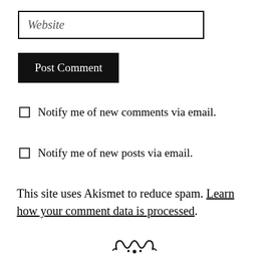Website
Post Comment
Notify me of new comments via email.
Notify me of new posts via email.
This site uses Akismet to reduce spam. Learn how your comment data is processed.
[Figure (illustration): Decorative ornamental swirl divider at the bottom of the page]